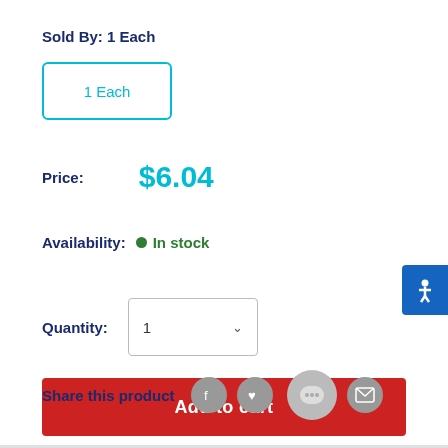Sold By: 1 Each
1 Each
Price: $6.04
Availability: In stock
Quantity: 1
Add to cart
Share this product